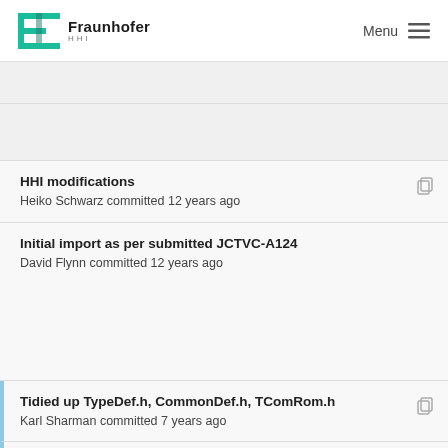Fraunhofer HHI — Menu
(truncated commit title visible at top)
HHI modifications
Heiko Schwarz committed 12 years ago
Initial import as per submitted JCTVC-A124
David Flynn committed 12 years ago
Tidied up TypeDef.h, CommonDef.h, TComRom.h
Karl Sharman committed 7 years ago